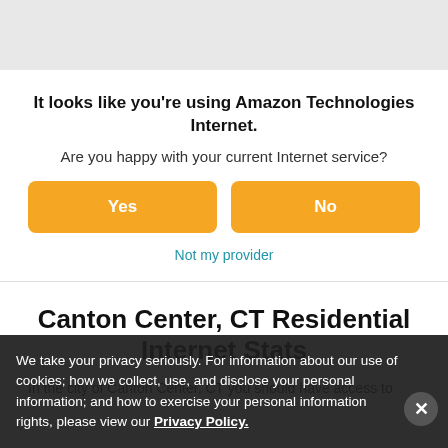It looks like you're using Amazon Technologies Internet. Are you happy with your current Internet service?
Yes
No
Not my provider
Canton Center, CT Residential Internet Stats
In the city of Canton Center, CT you should have access to
We take your privacy seriously. For information about our use of cookies; how we collect, use, and disclose your personal information; and how to exercise your personal information rights, please view our Privacy Policy.